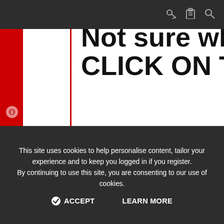[Figure (screenshot): Website screenshot showing a partially visible forum post with a red sidebar on the left, a white popup overlay with bold text 'Not sure what to say? CLICK ON THIS!', a top navigation bar with icons, and a cookie consent banner at the bottom.]
Not sure what to say? CLICK ON THIS!
a week
as I was going
s I couldn't
te content
ng take out lol.
create
feel in my
ors who are
already successful in my niche are 10yrs younger
This site uses cookies to help personalise content, tailor your experience and to keep you logged in if you register.
By continuing to use this site, you are consenting to our use of cookies.
✓ ACCEPT   LEARN MORE